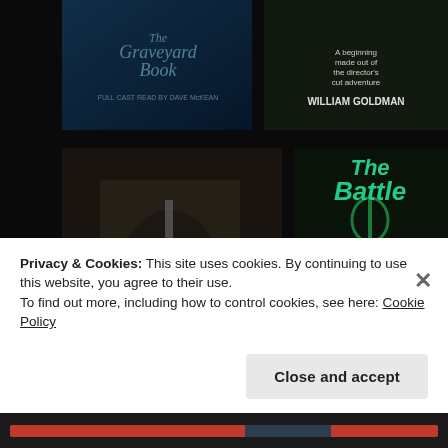[Figure (screenshot): Grid of book covers on a dark background. Top row: 'The Graveyard Book' (blue/dark cover) and a William Goldman book (dark green/monster cover). Middle row: Bernard Cornwell 'The Pagan Lord' (knight with sword) and 'The Battle' by D. Rus, Play to Live Book V (dark key/rune cover). Bottom row (partially visible): an archer figure book and 'The Alloy of Law' (warm orange tones).]
Privacy & Cookies: This site uses cookies. By continuing to use this website, you agree to their use.
To find out more, including how to control cookies, see here: Cookie Policy
Close and accept